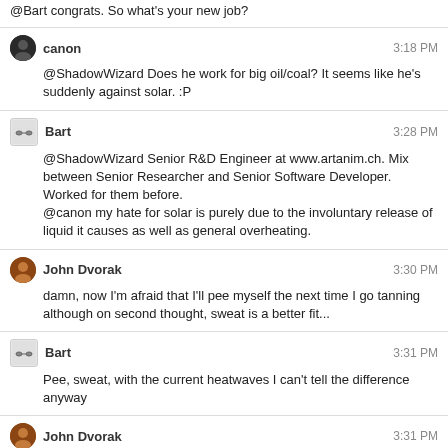@Bart congrats. So what's your new job?
canon 3:18 PM
@ShadowWizard Does he work for big oil/coal? It seems like he's suddenly against solar. :P
Bart 3:28 PM
@ShadowWizard Senior R&D Engineer at www.artanim.ch. Mix between Senior Researcher and Senior Software Developer.
Worked for them before.
@canon my hate for solar is purely due to the involuntary release of liquid it causes as well as general overheating.
John Dvorak 3:30 PM
damn, now I'm afraid that I'll pee myself the next time I go tanning
although on second thought, sweat is a better fit...
Bart 3:31 PM
Pee, sweat, with the current heatwaves I can't tell the difference anyway
John Dvorak 3:31 PM
the former only comes from one place :P
Bart 3:33 PM
It's not about the source, it's about the destination ...
#inspirationalurinationquotes
John Dvorak 3:34 PM